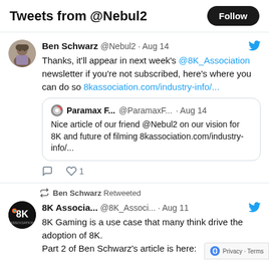Tweets from @Nebul2
Ben Schwarz @Nebul2 · Aug 14
Thanks, it'll appear in next week's @8K_Association newsletter if you're not subscribed, here's where you can do so 8kassociation.com/industry-info/...
Paramax F... @ParamaxF... · Aug 14
Nice article of our friend @Nebul2 on our vision for 8K and future of filming 8kassociation.com/industry-info/...
Ben Schwarz Retweeted
8K Associa... @8K_Associ... · Aug 11
8K Gaming is a use case that many think drive the adoption of 8K.
Part 2 of Ben Schwarz's article is here: